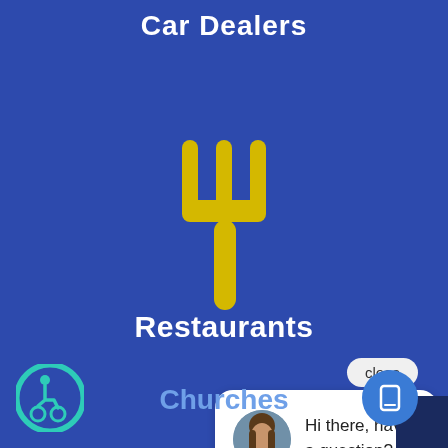Car Dealers
[Figure (illustration): Yellow fork icon on blue background representing restaurants category]
Restaurants
close
Hi there, have a question? Text us here.
Churches
[Figure (illustration): Wheelchair accessibility icon in circle]
[Figure (illustration): Blue circular chat/phone FAB button]